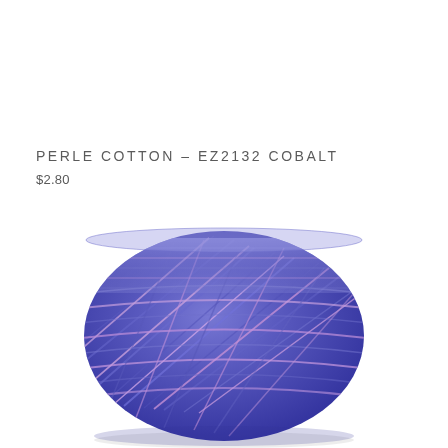PERLE COTTON – EZ2132 COBALT
$2.80
[Figure (photo): A ball of perle cotton thread in cobalt blue and lavender/purple variegated colors, showing the wound thread with a cylindrical shape and visible texture of crossed threads.]